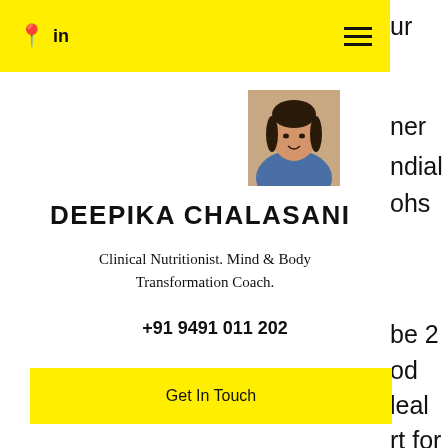📍 in ☰
[Figure (photo): Headshot photo of Deepika Chalasani, a woman in a blue outfit]
DEEPIKA CHALASANI
Clinical Nutritionist. Mind & Body Transformation Coach.
+91 9491 011 202
Get In Touch
not with low Insulin as most diabetics perceive. Most of the Indian Diabetics start their Diabetic journey with this pattern of blood sugar and continue to be with it, in some cases even for